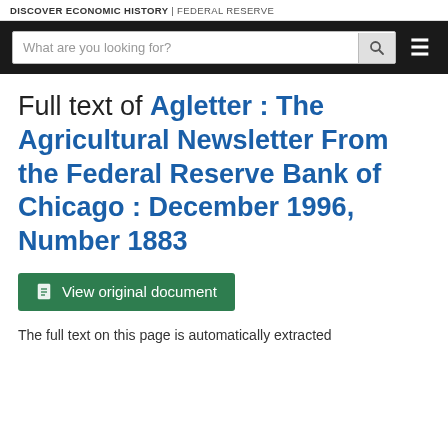DISCOVER ECONOMIC HISTORY | FEDERAL RESERVE
Full text of Agletter : The Agricultural Newsletter From the Federal Reserve Bank of Chicago : December 1996, Number 1883
View original document
The full text on this page is automatically extracted